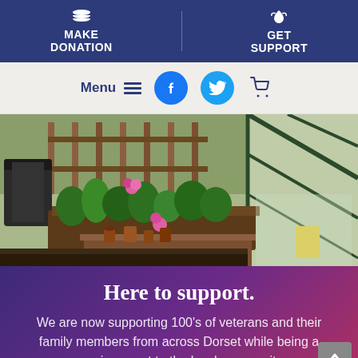MAKE DONATION | GET SUPPORT
[Figure (screenshot): Navigation bar with Menu, hamburger icon, Facebook button, Twitter button, and shopping cart icon]
[Figure (photo): Garden scene with raised wooden planter beds filled with green plants and flowers, a wooden fence in the background, and a glass greenhouse/cold frame on the right side]
Here to support.
We are now supporting 100's of veterans and their family members from across Dorset while being a genuine asset to the local community;